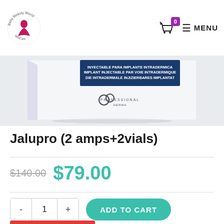[Figure (logo): Bella Beauty World SkinCare logo — circular text around a woman silhouette]
[Figure (photo): White product box with blue label reading 'INYECTABLE PARA IMPLANTE INTRADERMICA / IMPLANT INJECTABLE PAR VOIE INTRADERMIQUE / DIE INTRADERMALE INJIZIERBARES IMPLANTAT' and Professional Derma logo]
Jalupro (2 amps+2vials)
$140.00  $79.00
- 1 + ADD TO CART